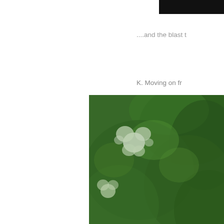[Figure (photo): Dark/black rectangular photo at upper right, partially cropped]
....and the blast t
K. Moving on fr
[Figure (photo): Lush green foliage with blurred bokeh white flower blossoms, nature photograph]